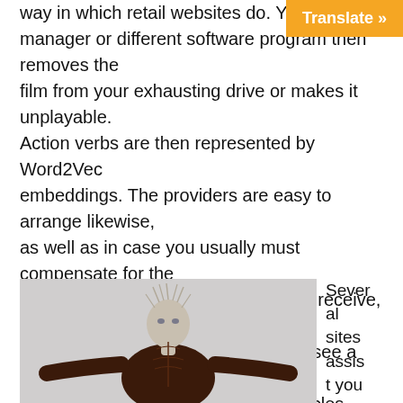way in which retail websites do. Your partner manager or different software program then removes the film from your exhausting drive or makes it unplayable. Action verbs are then represented by Word2Vec embeddings. The providers are easy to arrange likewise, as well as in case you usually must compensate for the additional wireless dongles to realize receive, it really is money correctly price paying out. To see a comparability of some sites' offerings, try these articles from TechCrunch and ExtremeTech.
[Figure (illustration): A 3D rendered humanoid figure with spikes on its head and dark textured skin resembling a horror character, posed with arms spread wide, on a light grey background.]
Several sites assist you to make